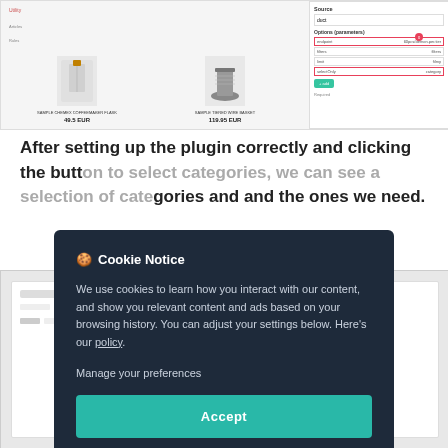[Figure (screenshot): E-commerce product listing showing three items with prices: 49.5 EUR, 119.95 EUR, 100.0 EUR, with a plugin configuration panel on the right showing options parameters and a teal add button.]
After setting up the plugin correctly and clicking the button to select categories, we can see a selection of categories and and the ones we need.
[Figure (screenshot): Screenshot of a categories selection interface, partially obscured by cookie notice modal.]
[Figure (infographic): Cookie notice modal overlay with dark navy background. Title: Cookie Notice. Body text: We use cookies to learn how you interact with our content, and show you relevant content and ads based on your browsing history. You can adjust your settings below. Here's our policy. Manage your preferences link. Accept button in teal.]